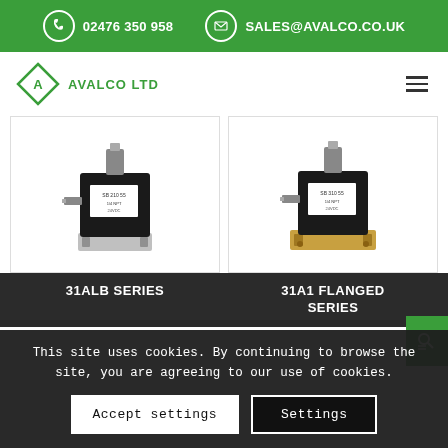02476 350 958  SALES@AVALCO.CO.UK
[Figure (logo): Avalco Ltd logo — green diamond with letter A, beside text AVALCO LTD]
[Figure (photo): 31ALB Series solenoid valve — black coil housing on silver/chrome base]
[Figure (photo): 31A1 Flanged Series solenoid valve — black coil housing on gold/brass flanged base]
31ALB SERIES
31A1 FLANGED SERIES
This site uses cookies. By continuing to browse the site, you are agreeing to our use of cookies.